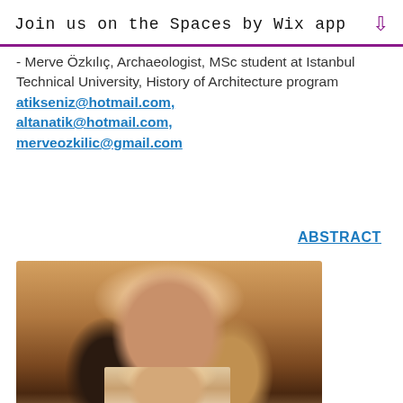Join us on the Spaces by Wix app ↓
- Merve Özkılıç, Archaeologist, MSc student at Istanbul Technical University, History of Architecture program atikseniz@hotmail.com, altanatik@hotmail.com, merveozkilic@gmail.com
ABSTRACT
[Figure (photo): Close-up photo of a young woman with curly/wavy reddish-brown hair, looking slightly upward, outdoors with warm light]
[Figure (photo): Portrait photo of a woman with blonde hair, smiling, wearing a white top with a necklace, professional headshot style]